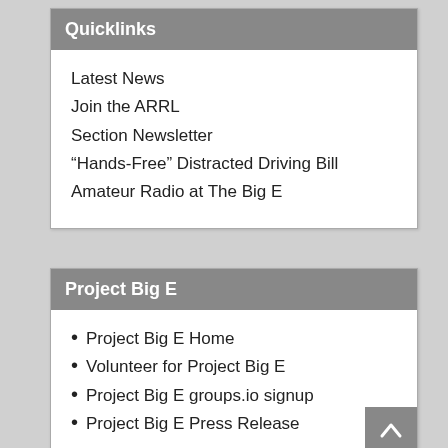Quicklinks
Latest News
Join the ARRL
Section Newsletter
“Hands-Free” Distracted Driving Bill
Amateur Radio at The Big E
Project Big E
Project Big E Home
Volunteer for Project Big E
Project Big E groups.io signup
Project Big E Press Release